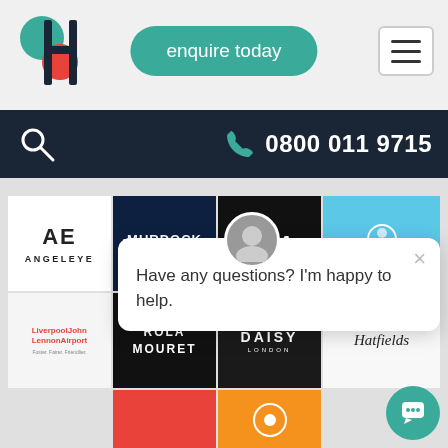[Figure (logo): Brand logo with overlapping teal circle, red circle, and dark H letter]
[Figure (other): Teal rounded button with text 'enquire today']
[Figure (other): Hamburger menu icon in white box with border]
[Figure (other): Dark navy navigation bar with search icon on left and phone number 0800 011 9715 on right with teal phone icon]
[Figure (other): Grid of client logos including Angeleye, Murdock London, PSA, Liverpool John Lennon Airport, Roland Mouret, Daisy London, Hatfields, and others]
[Figure (other): Live chat popup with avatar, close X button, and text: Have any questions? I'm happy to help.]
[Figure (other): Teal circular chat widget button in bottom right corner]